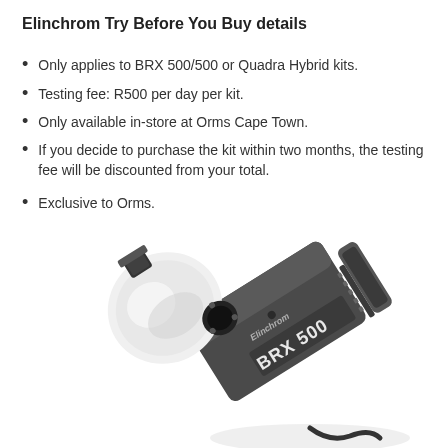Elinchrom Try Before You Buy details
Only applies to BRX 500/500 or Quadra Hybrid kits.
Testing fee: R500 per day per kit.
Only available in-store at Orms Cape Town.
If you decide to purchase the kit within two months, the testing fee will be discounted from your total.
Exclusive to Orms.
[Figure (photo): Photo of an Elinchrom BRX 500 studio flash/strobe unit, angled diagonally with a white dome diffuser on the front and the BRX 500 branding visible on the body.]